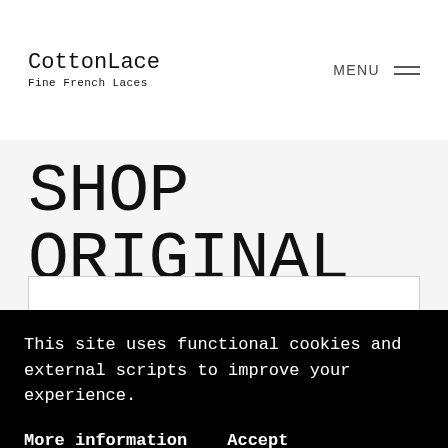CottonLace Fine French Laces | MENU
SHOP ORIGINAL
Home » Shop Original » #RT58 Ecru 1/4" (0,6 CM) Vintage Rayon Trim
This site uses functional cookies and external scripts to improve your experience.
More information   Accept